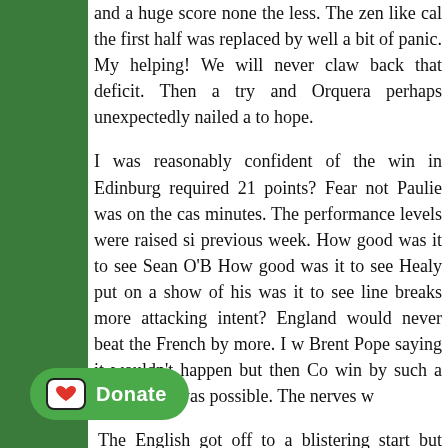and a huge score none the less. The zen like calm of the first half was replaced by well a bit of panic. My helping! We will never claw back that deficit. Then a try and Orquera perhaps unexpectedly nailed a to hope.
I was reasonably confident of the win in Edinburgh required 21 points? Fear not Paulie was on the cas minutes. The performance levels were raised si previous week. How good was it to see Sean O'B How good was it to see Healy put on a show of his was it to see line breaks more attacking intent? England would never beat the French by more. I w Brent Pope saying it wouldn't happen but then Co win by such a big victory was possible. The nerves w
The English got off to a blistering start but once t lead I decided it was to be our day. I mean the Engli Just after Nakaitaci's try my wife asked me to light a as already in a sweat due to the rugby b keeping an eye on the game I set and lit the fire.